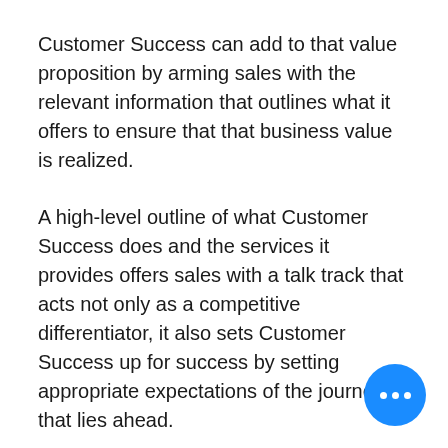Customer Success can add to that value proposition by arming sales with the relevant information that outlines what it offers to ensure that that business value is realized.
A high-level outline of what Customer Success does and the services it provides offers sales with a talk track that acts not only as a competitive differentiator, it also sets Customer Success up for success by setting appropriate expectations of the journey that lies ahead.
Using customer feedback that drives the customer journey that drives success, Customer Success that contributes to